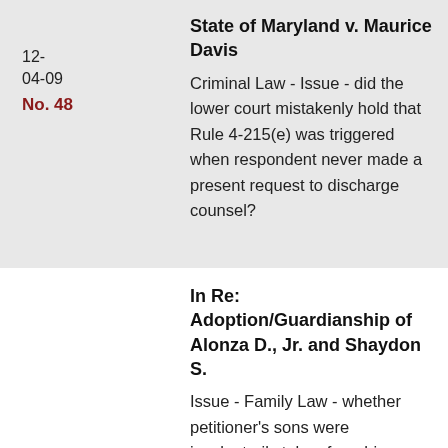12-04-09
No. 48
State of Maryland v. Maurice Davis
Criminal Law - Issue - did the lower court mistakenly hold that Rule 4-215(e) was triggered when respondent never made a present request to discharge counsel?
In Re: Adoption/Guardianship of Alonza D., Jr. and Shaydon S.
Issue - Family Law - whether petitioner's sons were involuntarily taken from his custody and, over his objections, were kept in the custody of a third party for six